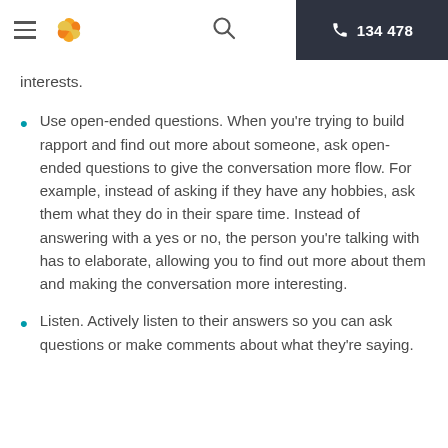134 478
interests.
Use open-ended questions. When you're trying to build rapport and find out more about someone, ask open-ended questions to give the conversation more flow. For example, instead of asking if they have any hobbies, ask them what they do in their spare time. Instead of answering with a yes or no, the person you're talking with has to elaborate, allowing you to find out more about them and making the conversation more interesting.
Listen. Actively listen to their answers so you can ask questions or make comments about what they're saying.